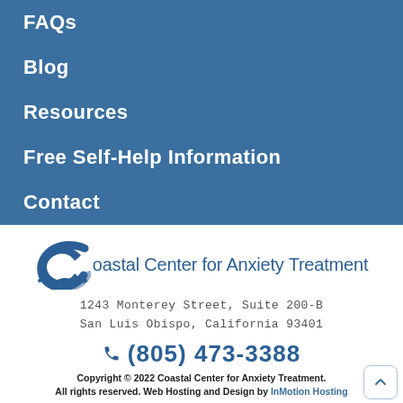FAQs
Blog
Resources
Free Self-Help Information
Contact
[Figure (logo): Coastal Center for Anxiety Treatment logo with wave/C icon and text]
1243 Monterey Street, Suite 200-B
San Luis Obispo, California 93401
(805) 473-3388
Copyright © 2022 Coastal Center for Anxiety Treatment. All rights reserved. Web Hosting and Design by InMotion Hosting